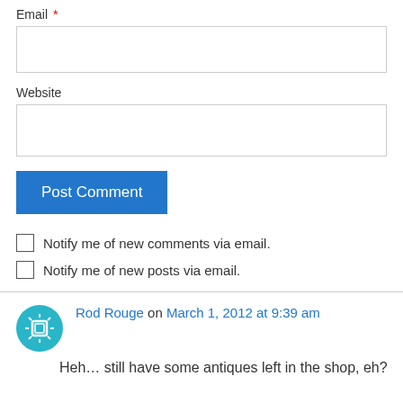Email *
Website
Post Comment
Notify me of new comments via email.
Notify me of new posts via email.
Rod Rouge on March 1, 2012 at 9:39 am
Heh… still have some antiques left in the shop, eh?